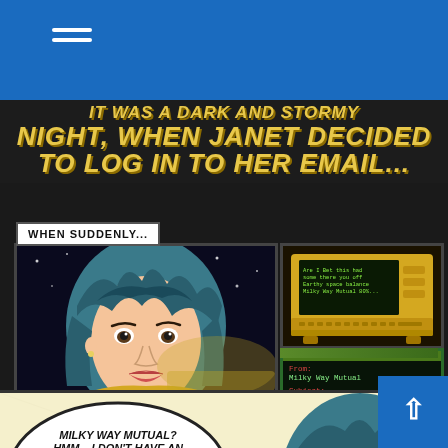[Figure (illustration): Comic book style page showing a woman named Janet logging into her email. Top title text in yellow italic bold reads 'NIGHT, WHEN JANET DECIDED TO LOG IN TO HER EMAIL...'. Middle panels show Janet's face with blue hair looking at screen, a laptop computer on screen, and an email from 'Milky Way Mutual'. Bottom panel has speech bubble with Janet saying 'MILKY WAY MUTUAL? HMM... I DON'T HAVE AN ACCOUNT THERE. I DO ALL MY BANKING HERE ON EARTH. LOOKS LIKE ATTEMPTED INTERNET FRAUD! I'M NOT EVEN'. Page has blue header bar with hamburger menu and blue scroll-to-top button.]